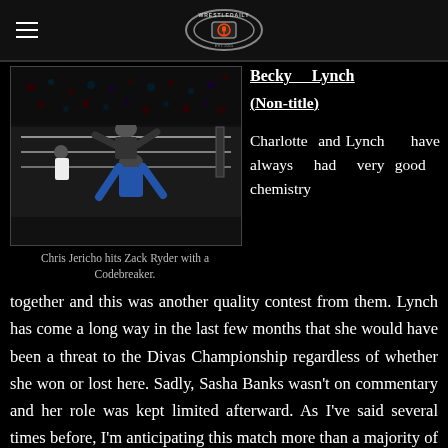WrestleDaily
[Figure (photo): Chris Jericho hits Zack Ryder with a Codebreaker in a wrestling ring. A referee is visible in the background.]
Chris Jericho hits Zack Ryder with a Codebreaker.
Becky Lynch (Non-title)
Charlotte and Lynch have always had very good chemistry together and this was another quality contest from them. Lynch has come a long way in the last few months that she would have been a threat to the Divas Championship regardless of whether she won or lost here. Sadly, Sasha Banks wasn't on commentary and her role was kept limited afterward. As I've said several times before, I'm anticipating this match more than a majority of the card and I expect all three women to have a phenomenal performance on Sunday.